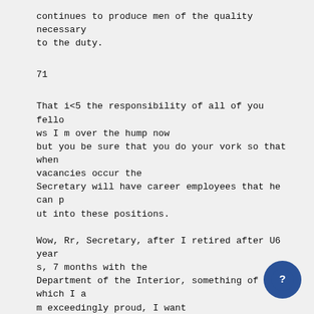continues to produce men of the quality necessary to the duty.
71
That i&lt;5 the responsibility of all of you fellows I m over the hump now but you be sure that you do your vork so that when vacancies occur the Secretary will have career employees that he can put into these positions.

Wow, Rr, Secretary, after I retired after U6 years, 7 months with the Department of the Interior, something of which I am exceedingly proud, I want to thank you from the bottom of my heart for the appointments you have made

here today. I certainly congratulate you in overri